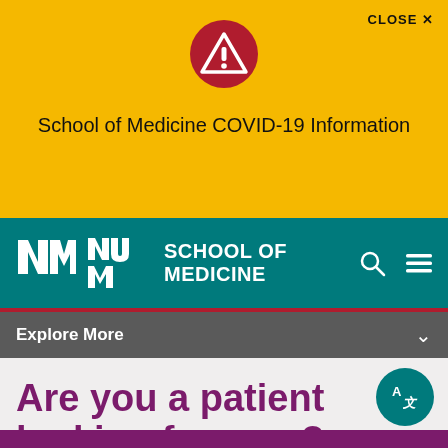[Figure (screenshot): Red circle warning/alert icon with white triangle and exclamation mark]
CLOSE ✕
School of Medicine COVID-19 Information
[Figure (logo): UNM School of Medicine logo — NMU interlocking letters in white on teal background, with 'SCHOOL OF MEDICINE' text]
Explore More
Are you a patient looking for care?
[Figure (illustration): Teal circle translate/language icon button in bottom right corner]